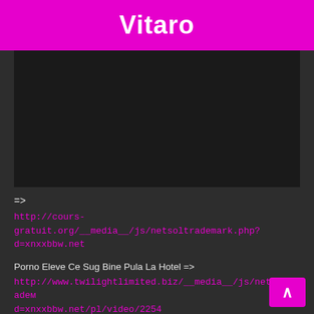Vitaro
[Figure (other): Dark/black video embed area]
=>
http://cours-gratuit.org/__media__/js/netsoltrademark.php?d=xnxxbbw.net
Porno Eleve Ce Sug Bine Pula La Hotel => http://www.twilightlimited.biz/__media__/js/netsoltrademark.php?d=xnxxbbw.net/pl/video/2254
Mature Tricks A Young Woman Next To Her Wrinkled Pussy => http://talom.blogk.net/prank/out.cgi?...